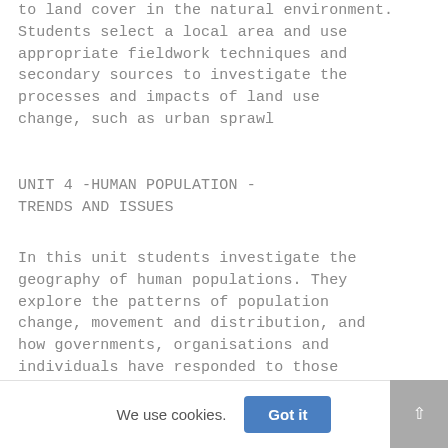to land cover in the natural environment. Students select a local area and use appropriate fieldwork techniques and secondary sources to investigate the processes and impacts of land use change, such as urban sprawl
UNIT 4 -HUMAN POPULATION - TRENDS AND ISSUES
In this unit students investigate the geography of human populations. They explore the patterns of population change, movement and distribution, and how governments, organisations and individuals have responded to those changes in different parts of the world.
We use cookies.